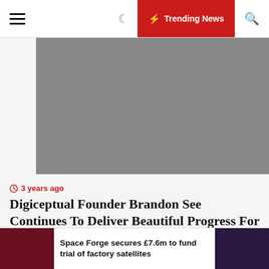☰  🌙  ⚡ Trending News  🔍
[Figure (photo): Gray rectangle banner placeholder (advertisement or header image area)]
3 years ago
Digiceptual Founder Brandon See Continues To Deliver Beautiful Progress For Purchasers In 2020
[Figure (photo): Red Tesla Model Y electric car driving on a highway with city skyline in the background]
Space Forge secures £7.6m to fund trial of factory satellites